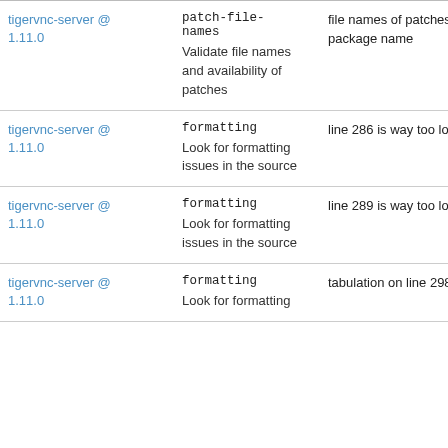| Package | Check | Message |
| --- | --- | --- |
| tigervnc-server @ 1.11.0 | patch-file-names
Validate file names and availability of patches | file names of patches sh... package name |
| tigervnc-server @ 1.11.0 | formatting
Look for formatting issues in the source | line 286 is way too long |
| tigervnc-server @ 1.11.0 | formatting
Look for formatting issues in the source | line 289 is way too long |
| tigervnc-server @ 1.11.0 | formatting
Look for formatting issues in the source | tabulation on line 298, c... |